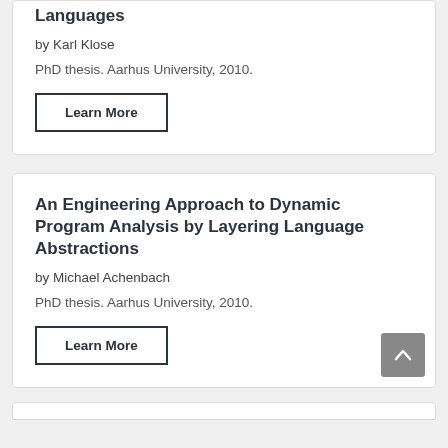Languages
by Karl Klose
PhD thesis. Aarhus University, 2010.
Learn More
An Engineering Approach to Dynamic Program Analysis by Layering Language Abstractions
by Michael Achenbach
PhD thesis. Aarhus University, 2010.
Learn More